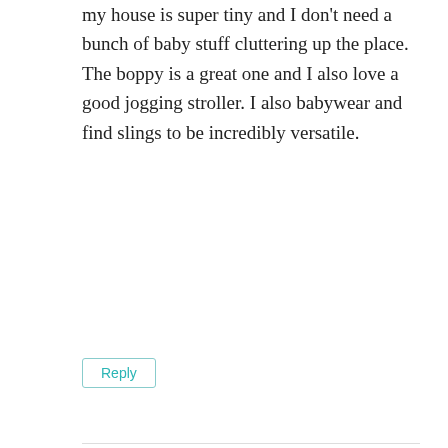my house is super tiny and I don't need a bunch of baby stuff cluttering up the place. The boppy is a great one and I also love a good jogging stroller. I also babywear and find slings to be incredibly versatile.
Reply
Kristi
May 28, 2013 at 10:22 am
The BOB, boppy, and A+A blankets are on my MVP list too along with the Ergo carrier. I didn't expect to still be carring him facing inward at 6mos b/c everyone told me he